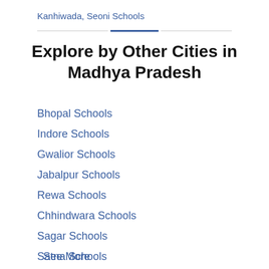Kanhiwada, Seoni Schools
Explore by Other Cities in Madhya Pradesh
Bhopal Schools
Indore Schools
Gwalior Schools
Jabalpur Schools
Rewa Schools
Chhindwara Schools
Sagar Schools
Satna Schools
Sheopur Schools
Betul Schools
Chhatarpur Schools
Mandsaur Schools
See More